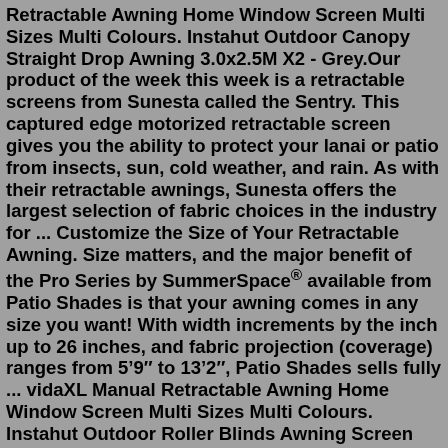Retractable Awning Home Window Screen Multi Sizes Multi Colours. Instahut Outdoor Canopy Straight Drop Awning 3.0x2.5M X2 - Grey.Our product of the week this week is a retractable screens from Sunesta called the Sentry. This captured edge motorized retractable screen gives you the ability to protect your lanai or patio from insects, sun, cold weather, and rain. As with their retractable awnings, Sunesta offers the largest selection of fabric choices in the industry for ... Customize the Size of Your Retractable Awning. Size matters, and the major benefit of the Pro Series by SummerSpace® available from Patio Shades is that your awning comes in any size you want! With width increments by the inch up to 26 inches, and fabric projection (coverage) ranges from 5’9″ to 13’2″, Patio Shades sells fully ... vidaXL Manual Retractable Awning Home Window Screen Multi Sizes Multi Colours. Instahut Outdoor Roller Blinds Awning Screen 2.4X2.5M. Instahut Retractable Straight Drop Roll Down Awning Patio Screen 3.0X2.5M.Retractable awnings help you beat the heat